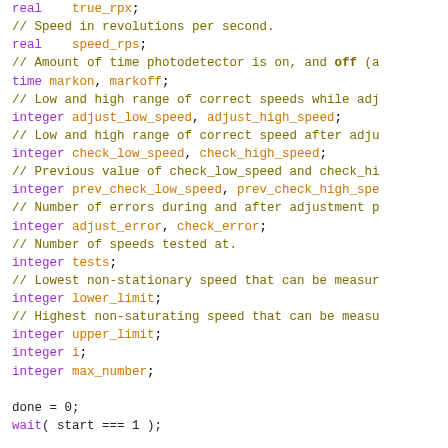Code snippet showing variable declarations and initialization in a hardware description or simulation language (Verilog/SystemVerilog style). Includes real, time, integer type declarations and procedural statements like wait, $display, and assignments.